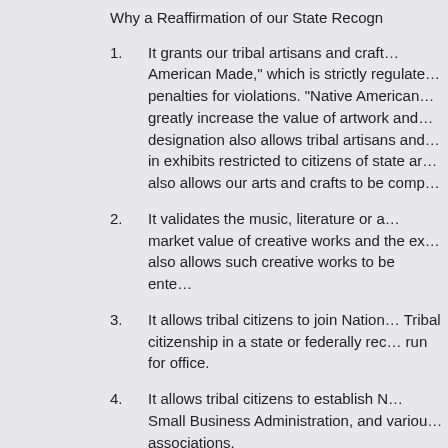Why a Reaffirmation of our State Recogn…
1. It grants our tribal artisans and craft… American Made," which is strictly regulate… penalties for violations. "Native American… greatly increase the value of artwork and… designation also allows tribal artisans and… in exhibits restricted to citizens of state ar… also allows our arts and crafts to be comp…
2. It validates the music, literature or a… market value of creative works and the ex… also allows such creative works to be ente…
3. It allows tribal citizens to join Nation… Tribal citizenship in a state or federally rec… run for office.
4. It allows tribal citizens to establish N… Small Business Administration, and variou… associations.
5. It allows tribal citizens to participate… which often require citizenship in a federa… vote.